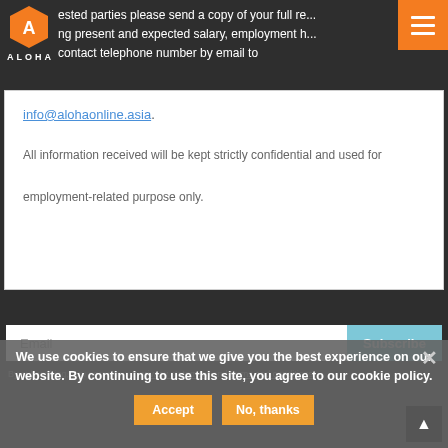[Figure (logo): Aloha hexagon logo in orange with white icon, and ALOHA text below]
ested parties please send a copy of your full re... ng present and expected salary, employment h... contact telephone number by email to
info@alohaonline.asia.
All information received will be kept strictly confidential and used for employment-related purpose only.
Email
Subscribe
We use cookies to ensure that we give you the best experience on our website. By continuing to use this site, you agree to our cookie policy.
By subscribing, you agree to our privacy statement and terms and conditions.
Accept
No, thanks